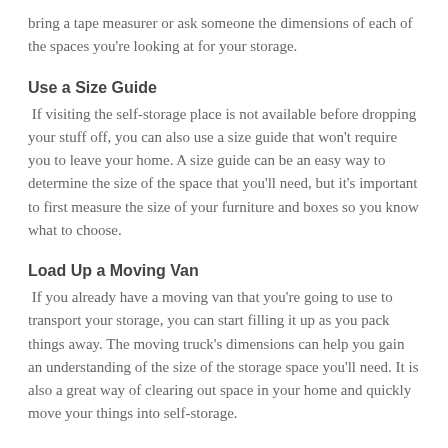bring a tape measurer or ask someone the dimensions of each of the spaces you're looking at for your storage.
Use a Size Guide
If visiting the self-storage place is not available before dropping your stuff off, you can also use a size guide that won't require you to leave your home. A size guide can be an easy way to determine the size of the space that you'll need, but it's important to first measure the size of your furniture and boxes so you know what to choose.
Load Up a Moving Van
If you already have a moving van that you're going to use to transport your storage, you can start filling it up as you pack things away. The moving truck's dimensions can help you gain an understanding of the size of the storage space you'll need. It is also a great way of clearing out space in your home and quickly move your things into self-storage.